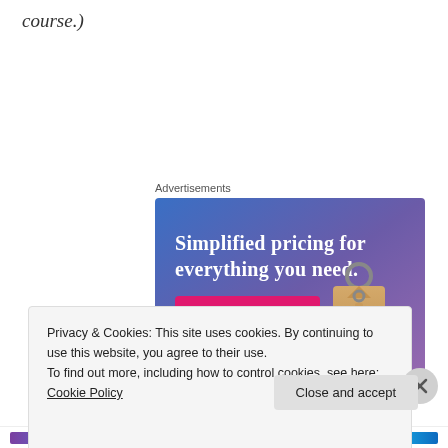course.)
Advertisements
[Figure (illustration): Advertisement banner with gradient blue-purple background. Text reads 'Simplified pricing for everything you need.' with a pink 'Build Your Website' button and a 3D price tag graphic on the right.]
Privacy & Cookies: This site uses cookies. By continuing to use this website, you agree to their use.
To find out more, including how to control cookies, see here: Cookie Policy
Close and accept